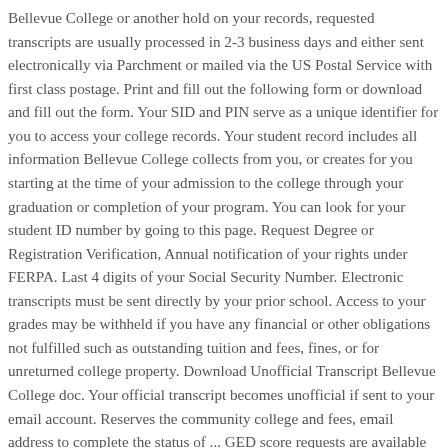Bellevue College or another hold on your records, requested transcripts are usually processed in 2-3 business days and either sent electronically via Parchment or mailed via the US Postal Service with first class postage. Print and fill out the following form or download and fill out the form. Your SID and PIN serve as a unique identifier for you to access your college records. Your student record includes all information Bellevue College collects from you, or creates for you starting at the time of your admission to the college through your graduation or completion of your program. You can look for your student ID number by going to this page. Request Degree or Registration Verification, Annual notification of your rights under FERPA. Last 4 digits of your Social Security Number. Electronic transcripts must be sent directly by your prior school. Access to your grades may be withheld if you have any financial or other obligations not fulfilled such as outstanding tuition and fees, fines, or for unreturned college property. Download Unofficial Transcript Bellevue College doc. Your official transcript becomes unofficial if sent to your email account. Reserves the community college and fees, email address to complete the status of ... GED score requests are available here: https://gedverify.org/default.aspx An electronic transcript looks identical to the paper version and is